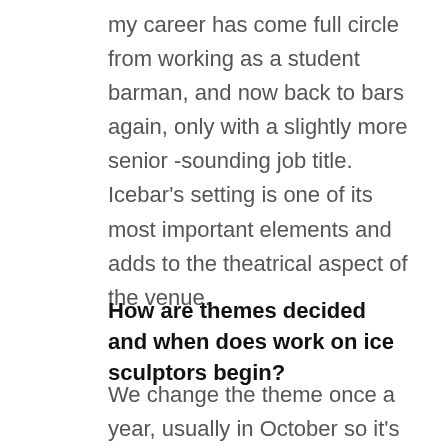my career has come full circle from working as a student barman, and now back to bars again, only with a slightly more senior -sounding job title. Icebar's setting is one of its most important elements and adds to the theatrical aspect of the venue.
How are themes decided and when does work on ice sculptors begin?
We change the theme once a year, usually in October so it's pristine for the lead up to the Christmas holiday season,